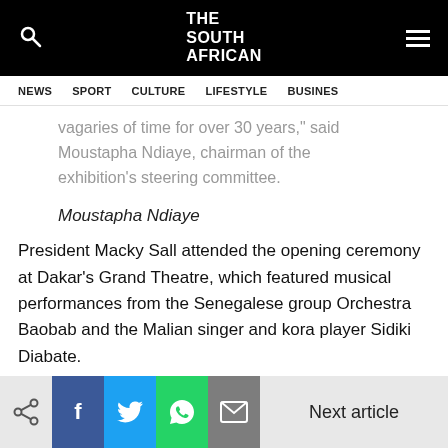THE SOUTH AFRICAN
NEWS  SPORT  CULTURE  LIFESTYLE  BUSINESS
vagaries of time for over 30 years," said Moustapha Ndiaye, chairman of the exhibition's steering committee.
Moustapha Ndiaye
President Macky Sall attended the opening ceremony at Dakar's Grand Theatre, which featured musical performances from the Senegalese group Orchestra Baobab and the Malian singer and kora player Sidiki Diabate.
Next article